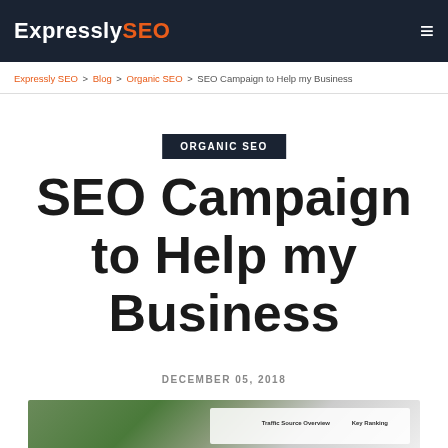Expressly SEO
Expressly SEO > Blog > Organic SEO > SEO Campaign to Help my Business
ORGANIC SEO
SEO Campaign to Help my Business
DECEMBER 05, 2018
[Figure (photo): Partial view of a laptop or tablet screen showing an analytics or SEO dashboard interface]